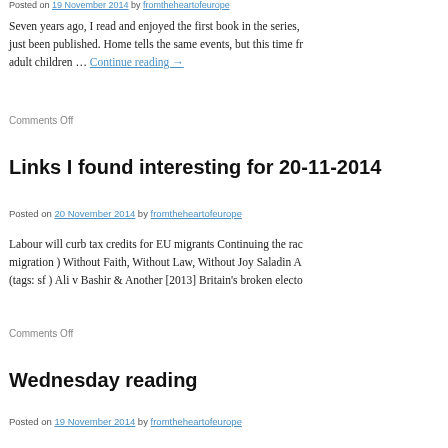Posted on 19 November 2014 by fromtheheartofeurope
Seven years ago, I read and enjoyed the first book in the series, just been published. Home tells the same events, but this time fr adult children … Continue reading →
Comments Off
Links I found interesting for 20-11-2014
Posted on 20 November 2014 by fromtheheartofeurope
Labour will curb tax credits for EU migrants Continuing the rac migration ) Without Faith, Without Law, Without Joy Saladin A (tags: sf ) Ali v Bashir & Another [2013] Britain's broken electo
Comments Off
Wednesday reading
Posted on 19 November 2014 by fromtheheartofeurope